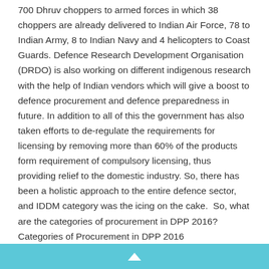700 Dhruv choppers to armed forces in which 38 choppers are already delivered to Indian Air Force, 78 to Indian Army, 8 to Indian Navy and 4 helicopters to Coast Guards. Defence Research Development Organisation (DRDO) is also working on different indigenous research with the help of Indian vendors which will give a boost to defence procurement and defence preparedness in future. In addition to all of this the government has also taken efforts to de-regulate the requirements for licensing by removing more than 60% of the products form requirement of compulsory licensing, thus providing relief to the domestic industry. So, there has been a holistic approach to the entire defence sector, and IDDM category was the icing on the cake. So, what are the categories of procurement in DPP 2016? Categories of Procurement in DPP 2016
▲